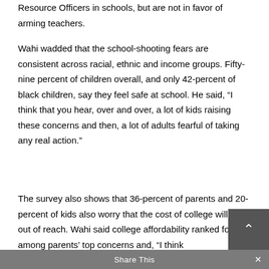Resource Officers in schools, but are not in favor of arming teachers.
Wahi wadded that the school-shooting fears are consistent across racial, ethnic and income groups. Fifty-nine percent of children overall, and only 42-percent of black children, say they feel safe at school. He said, “I think that you hear, over and over, a lot of kids raising these concerns and then, a lot of adults fearful of taking any real action.”
The survey also shows that 36-percent of parents and 20-percent of kids also worry that the cost of college will be out of reach. Wahi said college affordability ranked fourth among parents’ top concerns and, “I think